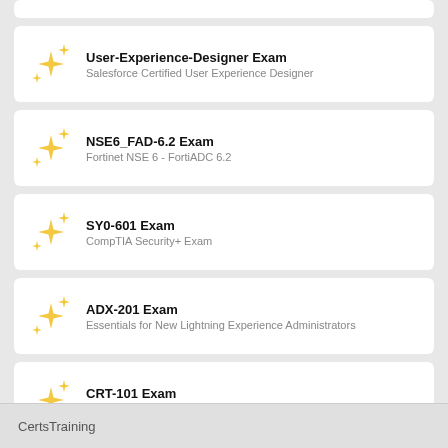User-Experience-Designer Exam — Salesforce Certified User Experience Designer
NSE6_FAD-6.2 Exam — Fortinet NSE 6 - FortiADC 6.2
SY0-601 Exam — CompTIA Security+ Exam
ADX-201 Exam — Essentials for New Lightning Experience Administrators
CRT-101 Exam — Prepare for your Administrator Certification Exam
CertsTraining